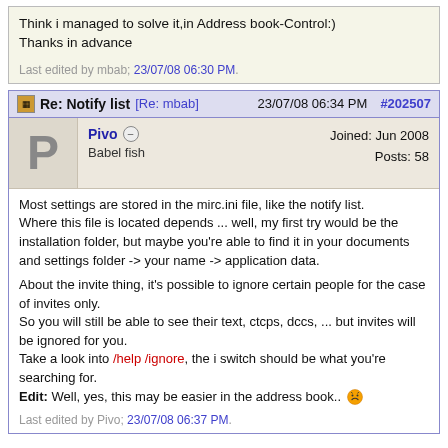Think i managed to solve it,in Address book-Control:)
Thanks in advance
Last edited by mbab; 23/07/08 06:30 PM.
Re: Notify list [Re: mbab]  23/07/08 06:34 PM  #202507
Pivo  Babel fish  Joined: Jun 2008  Posts: 58
Most settings are stored in the mirc.ini file, like the notify list.
Where this file is located depends ... well, my first try would be the installation folder, but maybe you're able to find it in your documents and settings folder -> your name -> application data.

About the invite thing, it's possible to ignore certain people for the case of invites only.
So you will still be able to see their text, ctcps, dccs, ... but invites will be ignored for you.
Take a look into /help /ignore, the i switch should be what you're searching for.
Edit: Well, yes, this may be easier in the address book..
Last edited by Pivo; 23/07/08 06:37 PM.